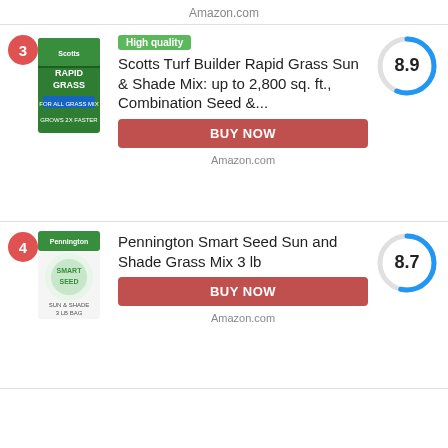Amazon.com
3 High quality Scotts Turf Builder Rapid Grass Sun & Shade Mix: up to 2,800 sq. ft., Combination Seed &... Score: 8.9
BUY NOW
Amazon.com
4 Pennington Smart Seed Sun and Shade Grass Mix 3 lb Score: 8.7
BUY NOW
Amazon.com